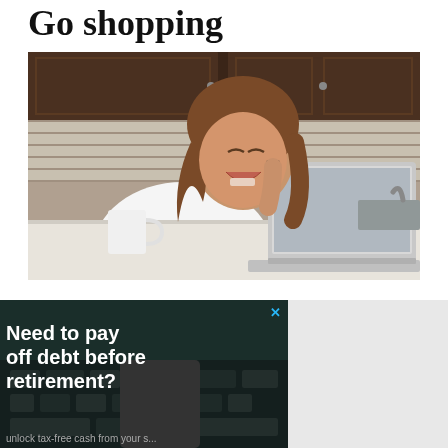Go shopping
[Figure (photo): Woman smiling and laughing while talking on phone, sitting at kitchen counter with laptop, wearing white shirt, dark wood cabinets and tile backsplash in background]
[Figure (photo): Advertisement showing dark background with keyboard, text reading 'Need to pay off debt before retirement?' with close button (X) in cyan/blue, partial text at bottom]